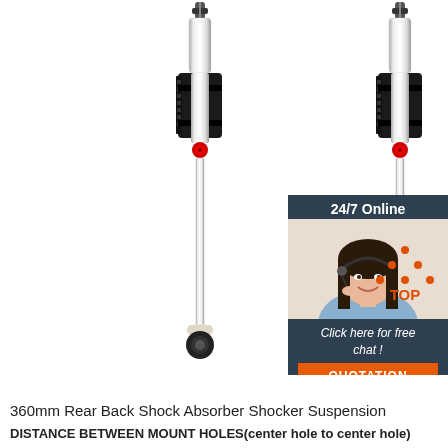[Figure (photo): Two chrome/silver rear shock absorbers with black bodies and red adjustment knobs, shown side by side on white background. An overlay in the top-right corner shows a 24/7 Online chat badge with a female customer service agent photo, text 'Click here for free chat!' and an orange QUOTATION button. A 'TOP' icon with orange dots appears in the lower-right area.]
360mm Rear Back Shock Absorber Shocker Suspension
DISTANCE BETWEEN MOUNT HOLES(center hole to center hole)